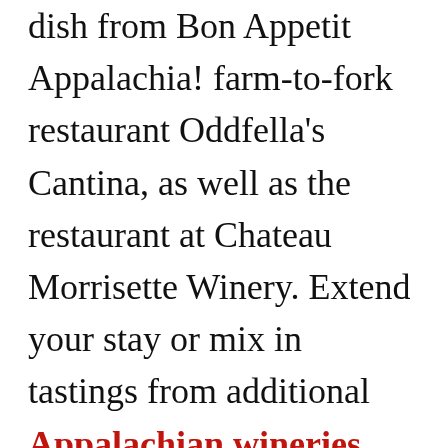dish from Bon Appetit Appalachia! farm-to-fork restaurant Oddfella's Cantina, as well as the restaurant at Chateau Morrisette Winery. Extend your stay or mix in tastings from additional Appalachian wineries, including Abingdon Vineyard and Winery and MountainRose Vineyards.
When in Lexington be sure to see the historic Natural Bridge as you sip